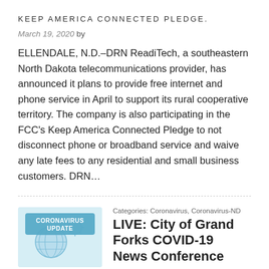KEEP AMERICA CONNECTED PLEDGE.
March 19, 2020 by
ELLENDALE, N.D.–DRN ReadiTech, a southeastern North Dakota telecommunications provider, has announced it plans to provide free internet and phone service in April to support its rural cooperative territory. The company is also participating in the FCC's Keep America Connected Pledge to not disconnect phone or broadband service and waive any late fees to any residential and small business customers. DRN…
[Figure (illustration): Coronavirus Update graphic with blue background, showing text 'CORONAVIRUS UPDATE' and illustrated icons of a globe and coronavirus particles]
Categories: Coronavirus, Coronavirus-ND
LIVE: City of Grand Forks COVID-19 News Conference
March 19, 2020 by